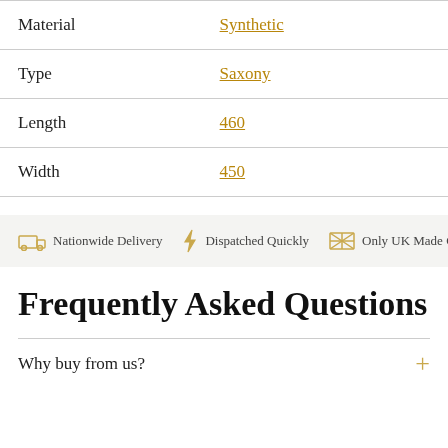|  |  |
| --- | --- |
| Material | Synthetic |
| Type | Saxony |
| Length | 460 |
| Width | 450 |
[Figure (infographic): Banner with icons: truck icon 'Nationwide Delivery', lightning bolt icon 'Dispatched Quickly', UK flag icon 'Only UK Made Car']
Frequently Asked Questions
Why buy from us?